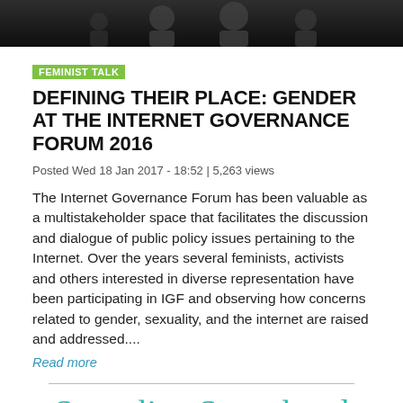[Figure (photo): Dark photo strip at top showing silhouettes of people at a conference or event]
FEMINIST TALK
DEFINING THEIR PLACE: GENDER AT THE INTERNET GOVERNANCE FORUM 2016
Posted Wed 18 Jan 2017 - 18:52 | 5,263 views
The Internet Governance Forum has been valuable as a multistakeholder space that facilitates the discussion and dialogue of public policy issues pertaining to the Internet. Over the years several feminists, activists and others interested in diverse representation have been participating in IGF and observing how concerns related to gender, sexuality, and the internet are raised and addressed....
Read more
Sexuality, Sexual and